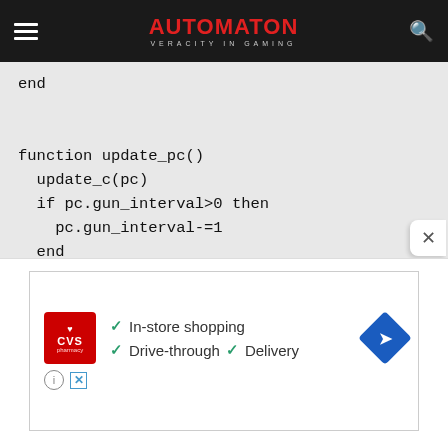AUTOMATON — VERACITY IN GAMING
[Figure (screenshot): Code block showing Lua script with 'end', function update_pc(), update_c(pc), if pc.gun_interval>0 then, pc.gun_interval-=1, end, end, --- beams on a light gray background]
[Figure (screenshot): CVS Pharmacy advertisement showing CVS logo, checkmarks for In-store shopping, Drive-through, and Delivery, and a navigation arrow icon]